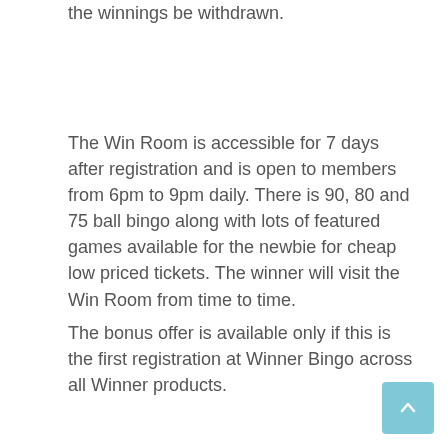the winnings be withdrawn.
The Win Room is accessible for 7 days after registration and is open to members from 6pm to 9pm daily. There is 90, 80 and 75 ball bingo along with lots of featured games available for the newbie for cheap low priced tickets. The winner will visit the Win Room from time to time.
The bonus offer is available only if this is the first registration at Winner Bingo across all Winner products.